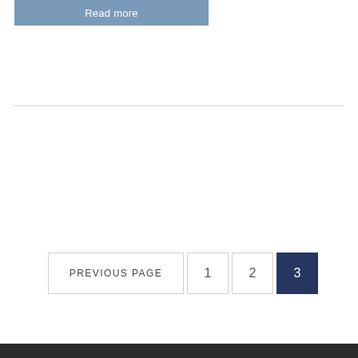[Figure (screenshot): A blue 'Read more' button]
[Figure (screenshot): Pagination navigation with PREVIOUS PAGE button and page numbers 1, 2, 3 (3 is active/highlighted in dark navy blue)]
[Figure (screenshot): A search input box with placeholder text 'Search ...' and a search icon on the right side]
[Figure (screenshot): Dark footer bar at bottom of page]